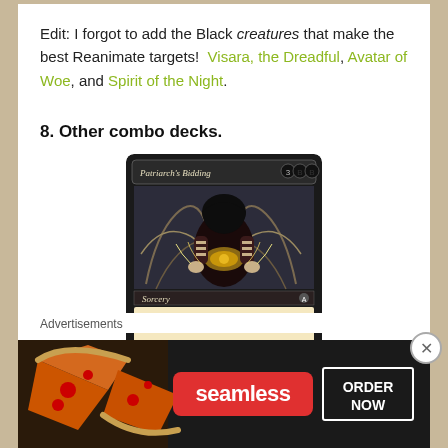Edit: I forgot to add the Black creatures that make the best Reanimate targets! Visara, the Dreadful, Avatar of Woe, and Spirit of the Night.
8. Other combo decks.
[Figure (photo): Magic: The Gathering card 'Patriarch's Bidding' — a Sorcery card showing a dark hooded figure with tentacles. Card text reads: Each player chooses a creature type.]
Advertisements
[Figure (photo): Seamless food delivery advertisement banner showing pizza slices on the left, a red Seamless logo in the center, and an ORDER NOW button on the right.]